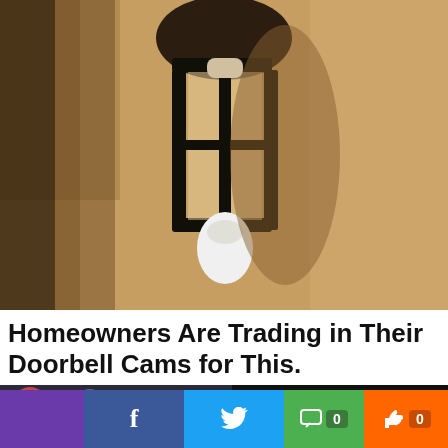[Figure (photo): A black metal outdoor wall lantern mounted on a rough textured sandy/beige stucco wall, with a white light bulb visible at the bottom.]
Homeowners Are Trading in Their Doorbell Cams for This.
[Figure (screenshot): Video bar showing two men: one with long grey-pink hair, another bald man in suit, with text overlay: 'I WILL BUY MANCHESTER UNITED'!' Jim Ratcliffe SPEAKS]
'I WILL BUY MANCHESTER UNITED'!' Jim Ratcliffe SPEAKS
[Figure (infographic): Social sharing bar with Facebook, Twitter, comment count (0), and like count (0) buttons in purple, blue, green, and orange.]